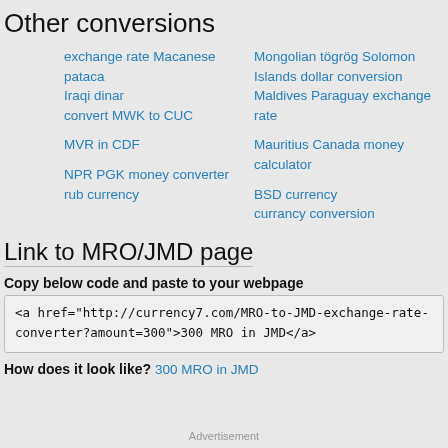Other conversions
exchange rate Macanese pataca Iraqi dinar
convert MWK to CUC
MVR in CDF
NPR PGK money converter
rub currency
Mongolian tögrög Solomon Islands dollar conversion
Maldives Paraguay exchange rate
Mauritius Canada money calculator
BSD currency
currancy conversion
Link to MRO/JMD page
Copy below code and paste to your webpage
<a href="http://currency7.com/MRO-to-JMD-exchange-rate-converter?amount=300">300 MRO in JMD</a>
How does it look like?
300 MRO in JMD
Advertisement